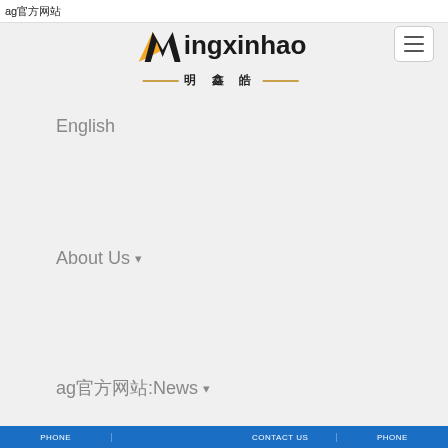ag官方网站
[Figure (logo): Mingxinhao logo with orange M icon, black text 'Mingxinhao', and Chinese characters '明鑫皓' with decorative gold lines]
[Figure (other): Hamburger menu button (three horizontal lines) in a rounded rectangle border]
English
About Us ▾
ag官方网站:News ▾
PHONE | | CONTACT US | PHONE